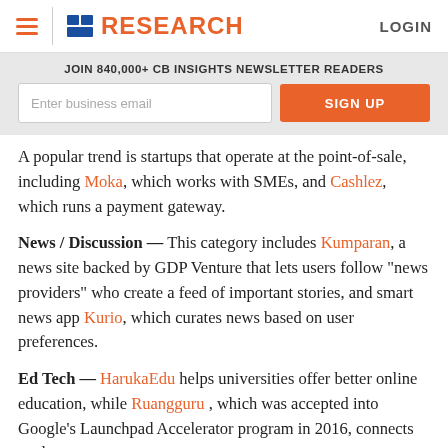CB Insights RESEARCH LOGIN
JOIN 840,000+ CB INSIGHTS NEWSLETTER READERS
A popular trend is startups that operate at the point-of-sale, including Moka, which works with SMEs, and Cashlez, which runs a payment gateway.
News / Discussion — This category includes Kumparan, a news site backed by GDP Venture that lets users follow “news providers” who create a feed of important stories, and smart news app Kurio, which curates news based on user preferences.
Ed Tech — HarukaEdu helps universities offer better online education, while Ruangguru , which was accepted into Google’s Launchpad Accelerator program in 2016, connects students to tutors.